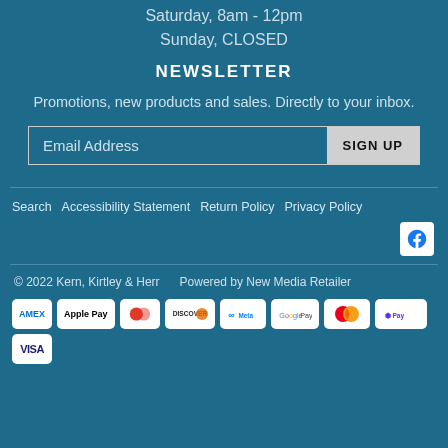Saturday, 8am - 12pm
Sunday, CLOSED
NEWSLETTER
Promotions, new products and sales. Directly to your inbox.
Email Address | SIGN UP
Search   Accessibility Statement   Return Policy   Privacy Policy
[Figure (other): Facebook social media icon]
© 2022 Kern, Kirtley & Herr   Powered by New Media Retailer
[Figure (other): Payment method icons: American Express, Apple Pay, Diners Club, Discover, Meta Pay, Google Pay, Mastercard, Shop Pay, Visa]